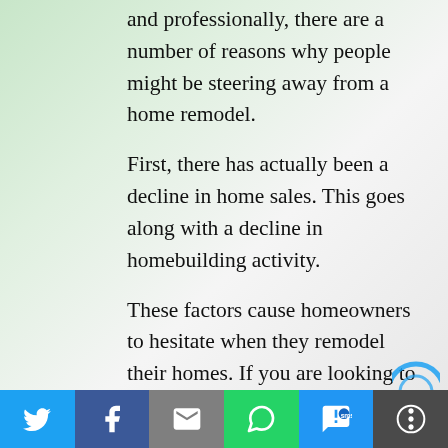and professionally, there are a number of reasons why people might be steering away from a home remodel.
First, there has actually been a decline in home sales. This goes along with a decline in homebuilding activity.
These factors cause homeowners to hesitate when they remodel their homes. If you are looking to sell your home, this is a prime time to remodel. You might think this remodel is necessary for your home to succeed on the market. If you aren't looking to sell your home, there is less reason to remodel. When home sales drop, the remodeling market drops as well.
Social share bar: Twitter, Facebook, Email, WhatsApp, SMS, More